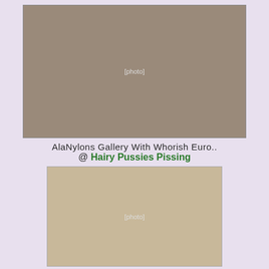[Figure (photo): Photo of a woman in a car, wearing stockings and heels]
AlaNylons Gallery With Whorish Euro.. @ Hairy Pussies Pissing
[Figure (photo): Photo of a blonde woman in a black corset with pearl necklace]